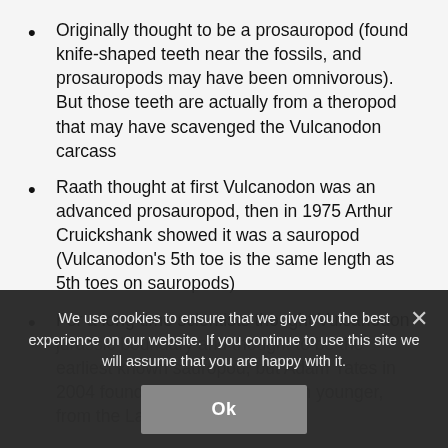Originally thought to be a prosauropod (found knife-shaped teeth near the fossils, and prosauropods may have been omnivorous). But those teeth are actually from a theropod that may have scavenged the Vulcanodon carcass
Raath thought at first Vulcanodon was an advanced prosauropod, then in 1975 Arthur Cruickshank showed it was a sauropod (Vulcanodon's 5th toe is the same length as 5th toes on sauropods)
For a long time scientists thought Vulcanodon ... jurassic boundary and thought to be the earliest known sauropod, but Adam Yates in 2004 found Vulcanodon as much younger, from the Late Jurassic
We use cookies to ensure that we give you the best experience on our website. If you continue to use this site we will assume that you are happy with it.